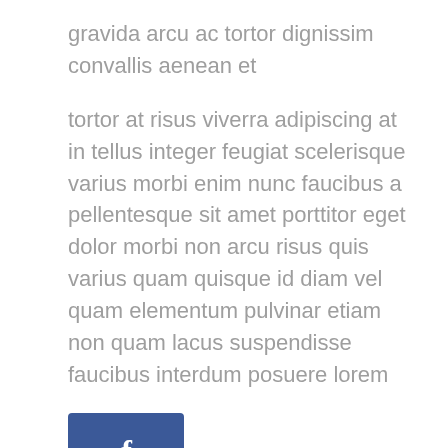gravida arcu ac tortor dignissim convallis aenean et
tortor at risus viverra adipiscing at in tellus integer feugiat scelerisque varius morbi enim nunc faucibus a pellentesque sit amet porttitor eget dolor morbi non arcu risus quis varius quam quisque id diam vel quam elementum pulvinar etiam non quam lacus suspendisse faucibus interdum posuere lorem
[Figure (logo): Facebook share button - blue square with white letter f]
Published: January 22, 2020